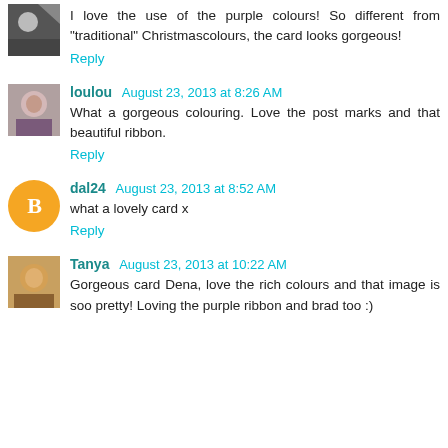I love the use of the purple colours! So different from "traditional" Christmascolours, the card looks gorgeous!
Reply
loulou August 23, 2013 at 8:26 AM
What a gorgeous colouring. Love the post marks and that beautiful ribbon.
Reply
dal24 August 23, 2013 at 8:52 AM
what a lovely card x
Reply
Tanya August 23, 2013 at 10:22 AM
Gorgeous card Dena, love the rich colours and that image is soo pretty! Loving the purple ribbon and brad too :)